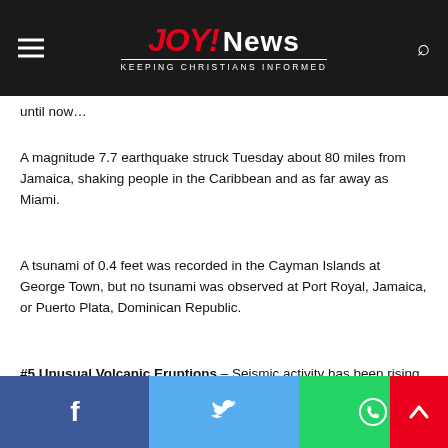JOY! News — KEEPING CHRISTIANS INFORMED
until now…
A magnitude 7.7 earthquake struck Tuesday about 80 miles from Jamaica, shaking people in the Caribbean and as far away as Miami.
A tsunami of 0.4 feet was recorded in the Cayman Islands at George Town, but no tsunami was observed at Port Royal, Jamaica, or Puerto Plata, Dominican Republic.
#5 Unusual Volcanic Eruptions – Seismic activity has been rising all over the globe, and over the past couple of months we have seen volcanoes all over the world pop off like firecrackers. One of the most notable eruptions that we have seen in rec…
Social share bar: Facebook, Twitter, WhatsApp